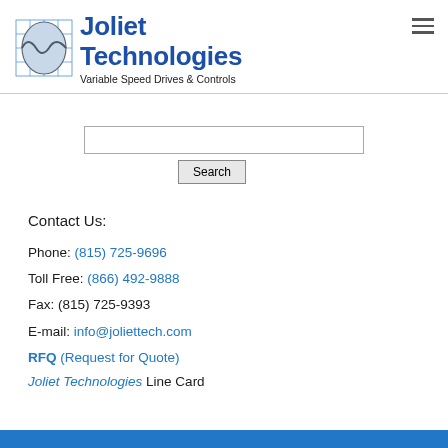[Figure (logo): Joliet Technologies logo with grid and waveform globe icon, blue text reading 'Joliet Technologies', subtitle 'Variable Speed Drives & Controls']
Search
Contact Us:
Phone: (815) 725-9696
Toll Free: (866) 492-9888
Fax: (815) 725-9393
E-mail: info@joliettech.com
RFQ (Request for Quote)
Joliet Technologies Line Card